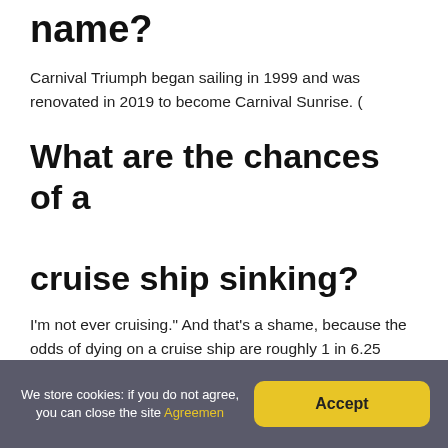name?
Carnival Triumph began sailing in 1999 and was renovated in 2019 to become Carnival Sunrise. (
What are the chances of a cruise ship sinking?
I'm not ever cruising." And that's a shame, because the odds of dying on a cruise ship are roughly 1 in 6.25 million. While any fatality is one too many, recent data confirms that cruising is still one of the safest forms of recreation and travel.
Which Cruise Line has the
We store cookies: if you do not agree, you can close the site Agreemen